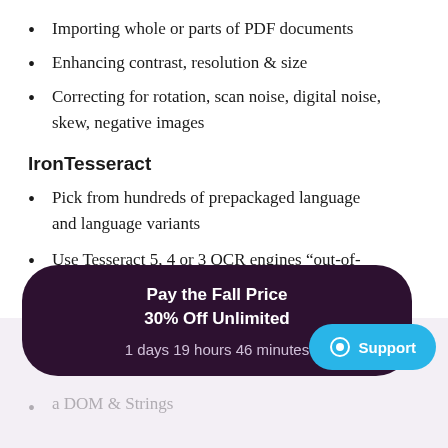Importing whole or parts of PDF documents
Enhancing contrast, resolution & size
Correcting for rotation, scan noise, digital noise, skew, negative images
IronTesseract
Pick from hundreds of prepackaged language and language variants
Use Tesseract 5, 4 or 3 OCR engines “out-of-the-box”
Specify a document type whether we are looking at a screenshot, a snippet, or an entire
[Figure (screenshot): Dark purple rounded banner overlay showing 'Pay the Fall Price 30% Off Unlimited' with countdown '1 days 19 hours 46 minutes', and a blue 'Support' button with chat icon]
a DOM & Strings